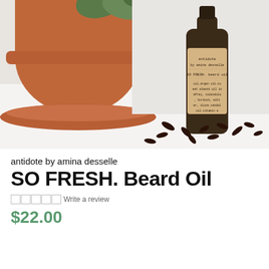[Figure (photo): Product photo of a dark amber glass dropper bottle labeled 'antidote by amina desselle SO FRESH. beard oil' with ingredient text listing argan oil, sweet almond oil, comfrey, calendula, burdock, witch hazel, clove, sandalwood oil, vitamin e. Bottle sits in front of a terracotta plant pot with green leaves, surrounded by dried cloves scattered on a white surface.]
antidote by amina desselle
SO FRESH. Beard Oil
Write a review
$22.00